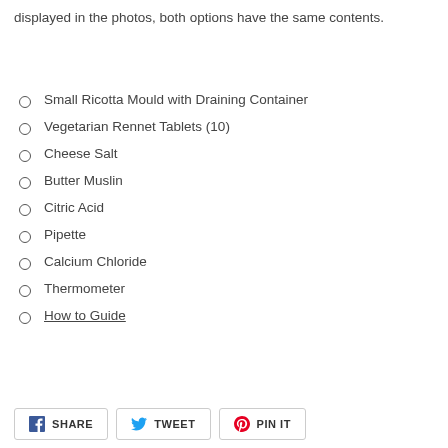displayed in the photos, both options have the same contents.
Small Ricotta Mould with Draining Container
Vegetarian Rennet Tablets (10)
Cheese Salt
Butter Muslin
Citric Acid
Pipette
Calcium Chloride
Thermometer
How to Guide
SHARE  TWEET  PIN IT